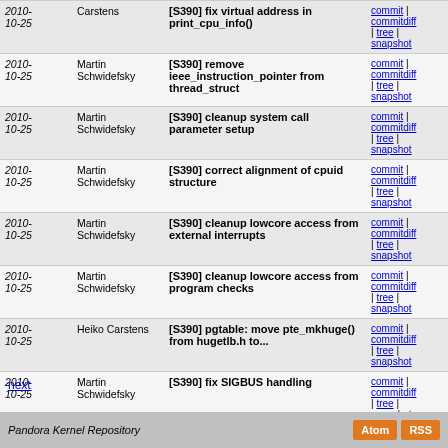| Date | Author | Commit | Links |
| --- | --- | --- | --- |
| 2010-10-25 | Carstens | [S390] fix virtual address in print_cpu_info() | commit | commitdiff | tree | snapshot |
| 2010-10-25 | Martin Schwidefsky | [S390] remove ieee_instruction_pointer from thread_struct | commit | commitdiff | tree | snapshot |
| 2010-10-25 | Martin Schwidefsky | [S390] cleanup system call parameter setup | commit | commitdiff | tree | snapshot |
| 2010-10-25 | Martin Schwidefsky | [S390] correct alignment of cpuid structure | commit | commitdiff | tree | snapshot |
| 2010-10-25 | Martin Schwidefsky | [S390] cleanup lowcore access from external interrupts | commit | commitdiff | tree | snapshot |
| 2010-10-25 | Martin Schwidefsky | [S390] cleanup lowcore access from program checks | commit | commitdiff | tree | snapshot |
| 2010-10-25 | Heiko Carstens | [S390] pgtable: move pte_mkhuge() from hugetlb.h to... | commit | commitdiff | tree | snapshot |
| 2010-10-25 | Martin Schwidefsky | [S390] fix SIGBUS handling | commit | commitdiff | tree | snapshot |
| 2010-10-25 | Sebastian Ott | [S390] cio: notify drivers of channel path events | commit | commitdiff | tree | snapshot |
next
Pandora Kernel Repository  Atom  RSS